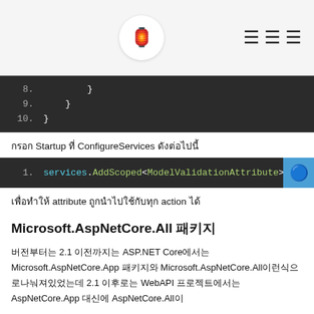Logo and menu header
[Figure (screenshot): Code block showing lines 8-10 with closing braces in dark theme editor]
กรอก Startup ที่ ConfigureServices ดังต่อไปนี้
[Figure (screenshot): Code block line 1: services.AddScoped<ModelValidationAttribute>();]
เพื่อทำให้ attribute ถูกนำไปใช้กับทุก action ได้
Microsoft.AspNetCore.All 패키지
버전부터는 2.1 이전까지는 ASP.NET Core에서는 Microsoft.AspNetCore.App 패키지와 Microsoft.AspNetCore.All이런식으로나눠져있었는데 2.1 이후로는 WebAPI 프로젝트에서는 AspNetCore.App 대신에 AspNetCore.All이
포함되어있는 AspNetCore 에서는EntityFrameworkCore 와SignalR 와version 2.1이  의존관계가되어있는라이브러리들이모아져있습니다
사용하면 Microsoft.AspNetCore.all 을사용하면됩니다. .NET Core Runtime에